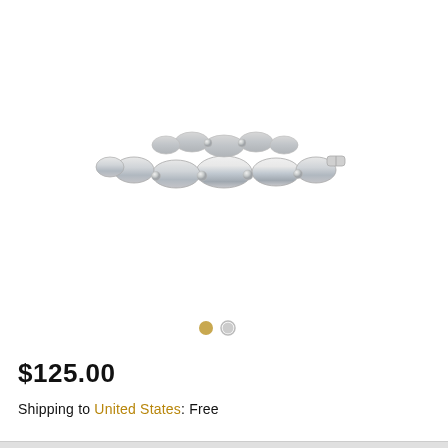[Figure (photo): Silver oval bead bracelet with polished oval links and small round spacer beads, clasp visible, photographed on white background]
[Figure (other): Two color selector dots: gold/yellow dot (selected) and grey dot]
$125.00
Shipping to United States: Free